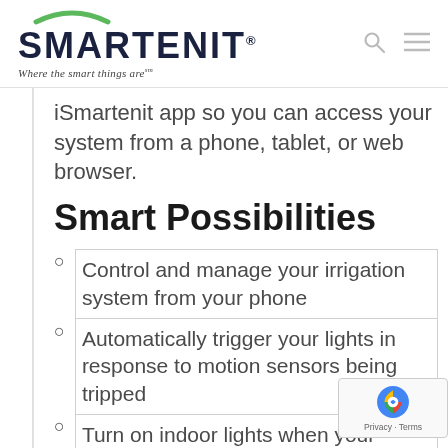SMARTENIT — Where the smart things are℠
iSmartenit app so you can access your system from a phone, tablet, or web browser.
Smart Possibilities
Control and manage your irrigation system from your phone
Automatically trigger your lights in response to motion sensors being tripped
Turn on indoor lights when your garage door opens so you aren't left in the dark